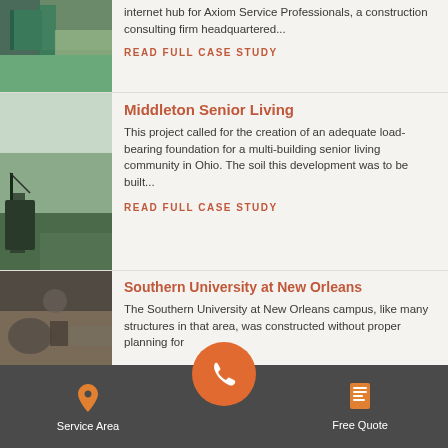internet hub for Axiom Service Professionals, a construction consulting firm headquartered...
READ FULL CASE STUDY
[Figure (photo): Construction site photo - vegetation and structure]
Middleton Senior Living
This project called for the creation of an adequate load-bearing foundation for a multi-building senior living community in Ohio. The soil this development was to be built...
READ FULL CASE STUDY
[Figure (photo): Construction site with crane and ground work]
Southern University at New Orleans
The Southern University at New Orleans campus, like many structures in that area, was constructed without proper planning for
[Figure (photo): Close-up of construction pipes and concrete work]
[Figure (infographic): Mobile app bottom navigation bar with Service Area, phone call button, and Free Quote icons]